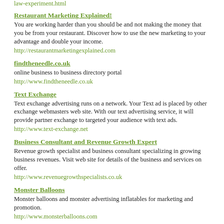law-experiment.html
Restaurant Marketing Explained!
You are working harder than you should be and not making the money that you be from your restaurant. Discover how to use the new marketing to your advantage and double your income.
http://restaurantmarketingexplained.com
findtheneedle.co.uk
online business to business directory portal
http://www.findtheneedle.co.uk
Text Exchange
Text exchange advertising runs on a network. Your Text ad is placed by other exchange webmasters web site. With our text advertising service, it will provide partner exchange to targeted your audience with text ads.
http://www.text-exchange.net
Business Consultant and Revenue Growth Expert
Revenue growth specialist and business consultant specializing in growing business revenues. Visit web site for details of the business and services on offer.
http://www.revenuegrowthspecialists.co.uk
Monster Balloons
Monster balloons and monster advertising inflatables for marketing and promotion.
http://www.monsterballoons.com
Traffic Exchange with Surfcash.us the leading free Traffic Exchange
SurfCash Is A Unique System For Website, Businesses